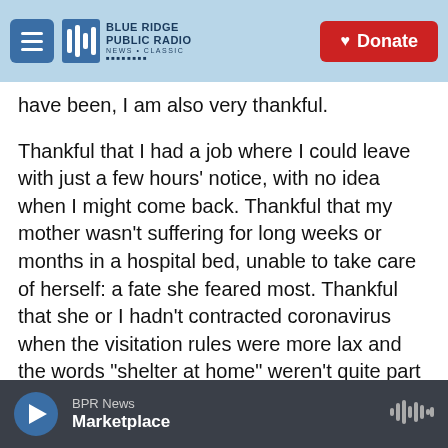Blue Ridge Public Radio — Donate
have been, I am also very thankful.
Thankful that I had a job where I could leave with just a few hours' notice, with no idea when I might come back. Thankful that my mother wasn't suffering for long weeks or months in a hospital bed, unable to take care of herself: a fate she feared most. Thankful that she or I hadn't contracted coronavirus when the visitation rules were more lax and the words "shelter at home" weren't quite part of our common lexicon.
But I'll be even more grateful when most hospitals
BPR News — Marketplace